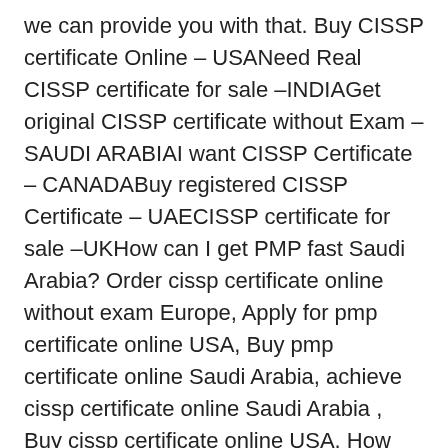we can provide you with that. Buy CISSP certificate Online – USANeed Real CISSP certificate for sale –INDIAGet original CISSP certificate without Exam – SAUDI ARABIAI want CISSP Certificate – CANADABuy registered CISSP Certificate – UAECISSP certificate for sale –UKHow can I get PMP fast Saudi Arabia? Order cissp certificate online without exam Europe, Apply for pmp certificate online USA, Buy pmp certificate online Saudi Arabia, achieve cissp certificate online Saudi Arabia , Buy cissp certificate online USA, How can I pass Cissp in a month? Buy cissp certificate online Netherland, Buy cissp certificate online Brazil, Buy cissp certificate online Spain, Buy cissp certificate online Swerzerland, Buy pmp certificate online Russia, Buy toefl certificate online Finland, Buy NEBOSH certificate online Hungary, Buy cissp certificate online Italy, where to get pmp certificate online without exam Saudi